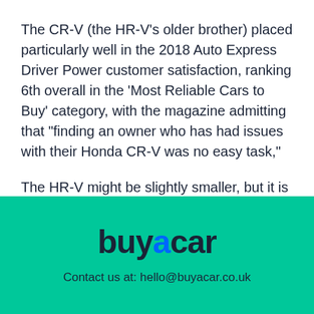The CR-V (the HR-V's older brother) placed particularly well in the 2018 Auto Express Driver Power customer satisfaction, ranking 6th overall in the 'Most Reliable Cars to Buy' category, with the magazine admitting that "finding an owner who has had issues with their Honda CR-V was no easy task,"
The HR-V might be slightly smaller, but it is based largely on the Jazz, which came in 17th in that very same list.
[Figure (logo): buyacar logo in dark navy text with the letter 'a' in blue, on a teal/green background]
Contact us at: hello@buyacar.co.uk